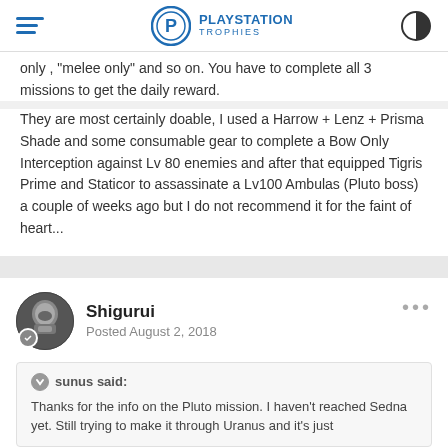PlayStation Trophies
only , melee only and so on. You have to complete all 3 missions to get the daily reward.
They are most certainly doable, I used a Harrow + Lenz + Prisma Shade and some consumable gear to complete a Bow Only Interception against Lv 80 enemies and after that equipped Tigris Prime and Staticor to assassinate a Lv100 Ambulas (Pluto boss) a couple of weeks ago but I do not recommend it for the faint of heart...
Shigurui
Posted August 2, 2018
sunus said:
Thanks for the info on the Pluto mission. I haven't reached Sedna yet. Still trying to make it through Uranus and it's just